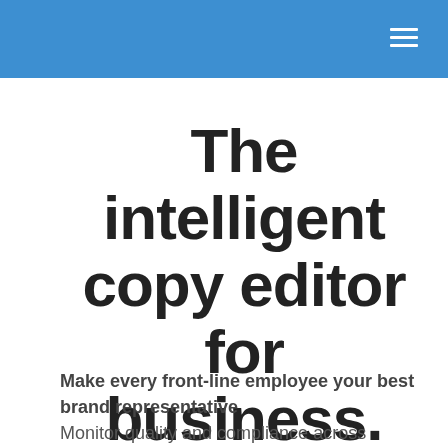The intelligent copy editor for business.
Make every front-line employee your best brand representative
Monitor quality and compliance across